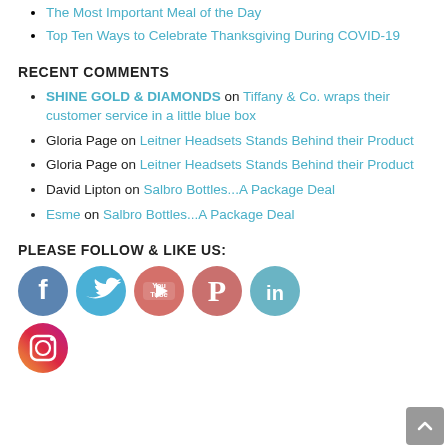The Most Important Meal of the Day
Top Ten Ways to Celebrate Thanksgiving During COVID-19
RECENT COMMENTS
SHINE GOLD & DIAMONDS on Tiffany & Co. wraps their customer service in a little blue box
Gloria Page on Leitner Headsets Stands Behind their Product
Gloria Page on Leitner Headsets Stands Behind their Product
David Lipton on Salbro Bottles...A Package Deal
Esme on Salbro Bottles...A Package Deal
PLEASE FOLLOW & LIKE US:
[Figure (infographic): Row of social media icons: Facebook (blue circle with f), Twitter (light blue circle with bird), YouTube (pink-red circle with play button and 'You Tube' text), Pinterest (salmon circle with P), LinkedIn (teal circle with in), and below: Instagram (gradient circle with camera icon).]